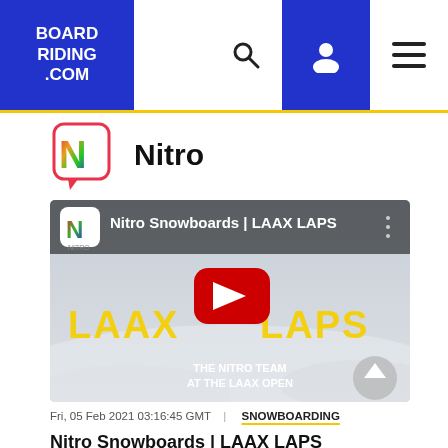BOARD RIDING .COM
[Figure (logo): Nitro brand logo — colorful N in a rounded square speech bubble]
Nitro
[Figure (screenshot): YouTube video thumbnail for 'Nitro Snowboards | LAAX LAPS' showing a snowboarder on a snowy slope with red YouTube play button overlay and text 'THE NITRO TEAM AT THE LAAX OPEN']
Fri, 05 Feb 2021 03:16:45 GMT | SNOWBOARDING
Nitro Snowboards | LAAX LAPS